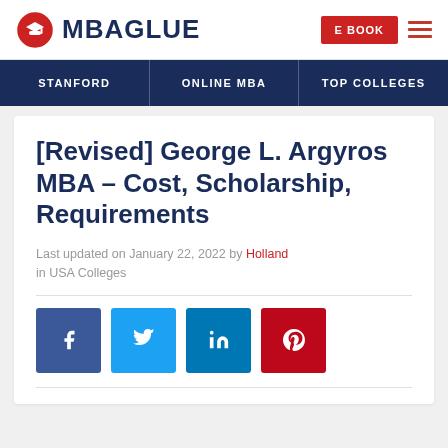MBAGLUE
STANFORD | ONLINE MBA | TOP COLLEGES
[Revised] George L. Argyros MBA – Cost, Scholarship, Requirements
Last updated on January 22, 2022 by Holland in USA Colleges
[Figure (illustration): Social share buttons: Facebook, Twitter, LinkedIn, Pinterest]